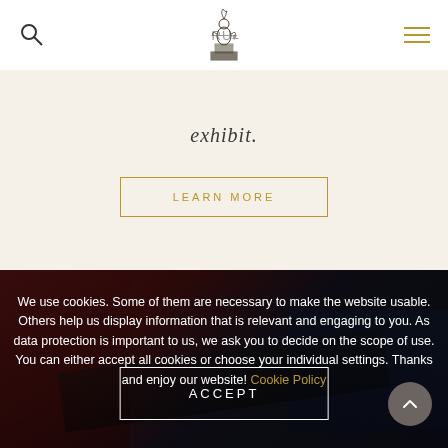RU▾ [logo] [search] [menu]
exhibit.
LEARN MORE
[Figure (photo): Dark background photo showing leather-bound items and boxes, partially visible]
We use cookies. Some of them are necessary to make the website usable. Others help us display information that is relevant and engaging to you. As data protection is important to us, we ask you to decide on the scope of use. You can either accept all cookies or choose your individual settings. Thanks and enjoy our website! Cookie Policy
ACCEPT